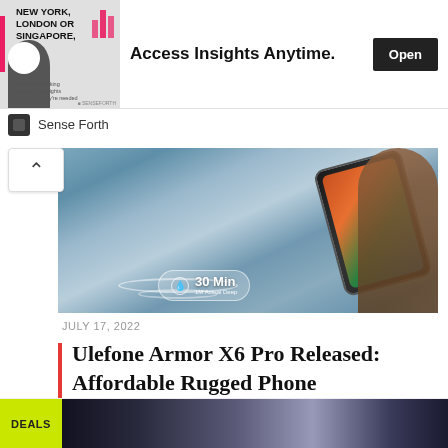[Figure (screenshot): Advertisement banner: image of man in suit with 'NEW YORK, LONDON OR SINGAPORE,' text on left, 'Access Insights Anytime.' headline, and 'Open' button on right. Sponsored by Sense Forth.]
[Figure (photo): Article hero image: hand holding Ulefone Armor X6 Pro smartphone over water/wet surface. Waterproof badge showing '30 Min' at bottom.]
JULY 17, 2022
Ulefone Armor X6 Pro Released: Affordable Rugged Phone
[Figure (screenshot): Bottom deals card with yellow 'DEALS' badge and strip of phone images]